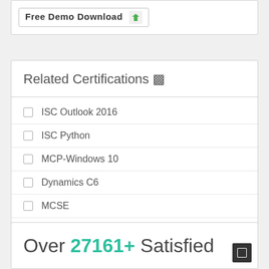[Figure (other): Free Demo Download button with green arrow icon]
Related Certifications
ISC Outlook 2016
ISC Python
MCP-Windows 10
Dynamics C6
MCSE
More ...
Over 27161+ Satisfied